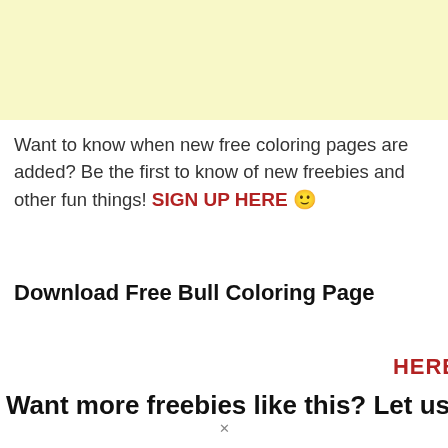[Figure (other): Yellow banner area at top of page]
Want to know when new free coloring pages are added? Be the first to know of new freebies and other fun things! SIGN UP HERE 🙂
Download Free Bull Coloring Page
[Figure (screenshot): Notification popup card showing Printable Alphabet Template ABC logo with text: A Makebreaker downloaded Free Printable Letters 38 seconds ago. Overlapping a red button background with 'HERE' text visible on the right.]
Want more freebies like this? Let us